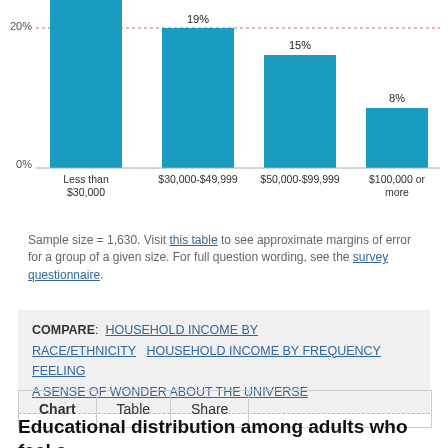[Figure (bar-chart): Household income bar chart (partial)]
Sample size = 1,630. Visit this table to see approximate margins of error for a group of a given size. For full question wording, see the survey questionnaire.
COMPARE: HOUSEHOLD INCOME BY RACE/ETHNICITY  HOUSEHOLD INCOME BY FREQUENCY FEELING A SENSE OF WONDER ABOUT THE UNIVERSE
Chart  Table  Share
Educational distribution among adults who feel a deep sense of wonder about the universe...